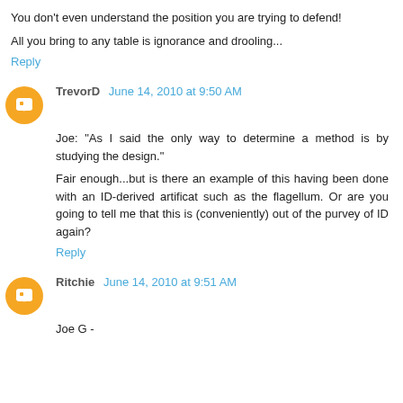You don't even understand the position you are trying to defend!
All you bring to any table is ignorance and drooling...
Reply
TrevorD June 14, 2010 at 9:50 AM
Joe: "As I said the only way to determine a method is by studying the design."
Fair enough...but is there an example of this having been done with an ID-derived artificat such as the flagellum. Or are you going to tell me that this is (conveniently) out of the purvey of ID again?
Reply
Ritchie June 14, 2010 at 9:51 AM
Joe G -